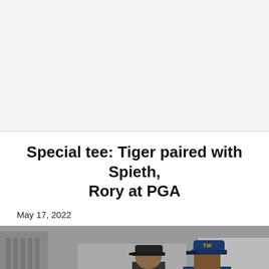[Figure (photo): White/light gray blank area at top of page, likely an advertisement or image placeholder]
Special tee: Tiger paired with Spieth, Rory at PGA
May 17, 2022
[Figure (photo): Photograph of Tiger Woods wearing a blue Nike vest and cap, with another golfer in foreground wearing a black cap, at a golf course with buildings in background]